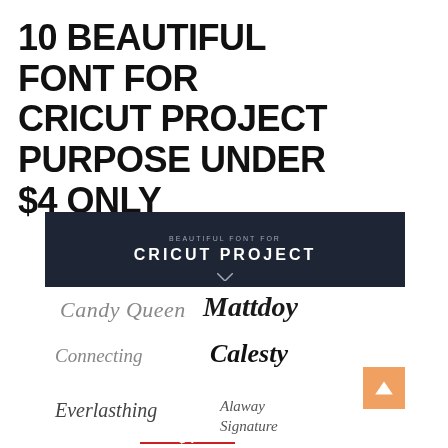10 BEAUTIFUL FONT FOR CRICUT PROJECT PURPOSE UNDER $4 ONLY
[Figure (infographic): Promotional graphic for 10 beautiful fonts for Cricut projects under $4. Contains a dark header bar reading 'BEAUTIFUL FONT FOR CRICUT PROJECT', script font name samples (Candy Queen, Mattdoy, Connecting, Calesty, Everlasting, Alaway Signature), and a red 'UNDER $4' badge with a horizontal red bar.]